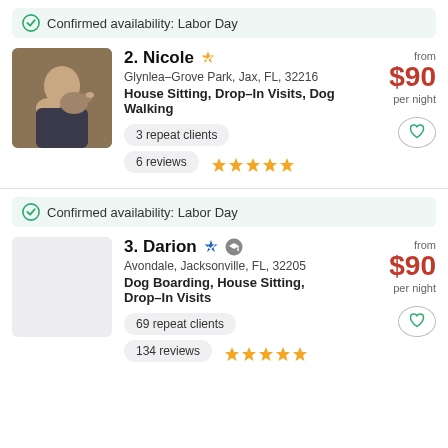Confirmed availability: Labor Day
2. Nicole · Glynlea–Grove Park, Jax, FL, 32216 · House Sitting, Drop–In Visits, Dog Walking · 3 repeat clients · 6 reviews · from $90 per night
Confirmed availability: Labor Day
3. Darion · Avondale, Jacksonville, FL, 32205 · Dog Boarding, House Sitting, Drop–In Visits · 69 repeat clients · 134 reviews · from $90 per night